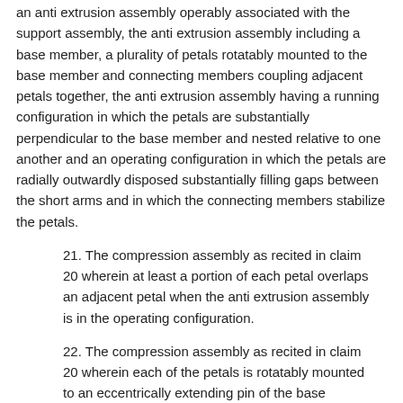an anti extrusion assembly operably associated with the support assembly, the anti extrusion assembly including a base member, a plurality of petals rotatably mounted to the base member and connecting members coupling adjacent petals together, the anti extrusion assembly having a running configuration in which the petals are substantially perpendicular to the base member and nested relative to one another and an operating configuration in which the petals are radially outwardly disposed substantially filling gaps between the short arms and in which the connecting members stabilize the petals.
21. The compression assembly as recited in claim 20 wherein at least a portion of each petal overlaps an adjacent petal when the anti extrusion assembly is in the operating configuration.
22. The compression assembly as recited in claim 20 wherein each of the petals is rotatably mounted to an eccentrically extending pin of the base member.
23. An anti extrusion assembly for actuating packing elements of a through tubing bridge plug in a casing string of a wellbore, the anti extrusion assembly comprising: